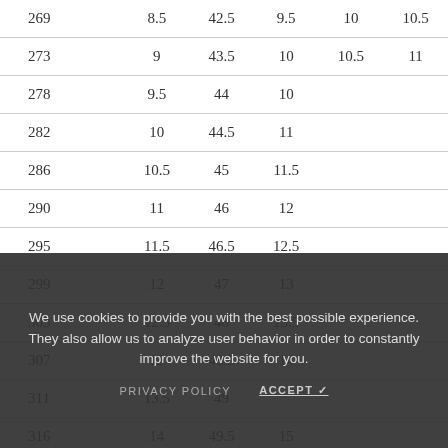| 269 | 8.5 | 42.5 | 9.5 | 10 | 10.5 |
| 273 | 9 | 43.5 | 10 | 10.5 | 11 |
| 278 | 9.5 | 44 | 10 |  |  |
| 282 | 10 | 44.5 | 11 |  |  |
| 286 | 10.5 | 45 | 11.5 |  |  |
| 290 | 11 | 46 | 12 |  |  |
| 295 | 11.5 | 46.5 | 12.5 |  |  |
| 299 | 12 | 47 | 13 |  |  |
| 303 | 12.5 | 48 | 13.5 |  |  |
| 307 | 13 | 48.5 | 14 |  |  |
| 311 | 13.5 | 49 |  |  |  |
| 316 | 14 | 49.5 | 15 |  |  |
| 320 | 14.5 | 50.5 | 15.5 |  |  |
We use cookies to provide you with the best possible experience. They also allow us to analyze user behavior in order to constantly improve the website for you.